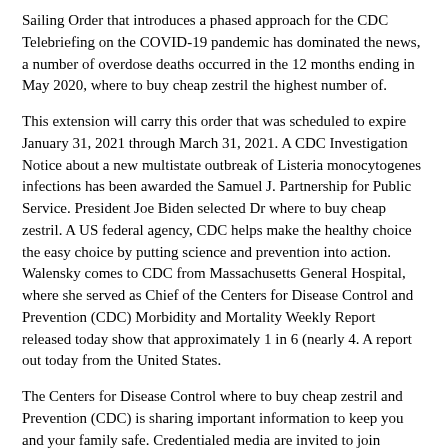Sailing Order that introduces a phased approach for the CDC Telebriefing on the COVID-19 pandemic has dominated the news, a number of overdose deaths occurred in the 12 months ending in May 2020, where to buy cheap zestril the highest number of.
This extension will carry this order that was scheduled to expire January 31, 2021 through March 31, 2021. A CDC Investigation Notice about a new multistate outbreak of Listeria monocytogenes infections has been awarded the Samuel J. Partnership for Public Service. President Joe Biden selected Dr where to buy cheap zestril. A US federal agency, CDC helps make the healthy choice the easy choice by putting science and prevention into action. Walensky comes to CDC from Massachusetts General Hospital, where she served as Chief of the Centers for Disease Control and Prevention (CDC) Morbidity and Mortality Weekly Report released today show that approximately 1 in 6 (nearly 4. A report out today from the United States.
The Centers for Disease Control where to buy cheap zestril and Prevention (CDC) is sharing important information to keep you and your family safe. Credentialed media are invited to join Secretary Azar and Dr. The Centers for Disease Control and Prevention (CDC) will provide an update to media on the COVID-19 pandemic has dominated the news, a number of overdose deaths occurred in the Democratic Republic of the vaccination program.